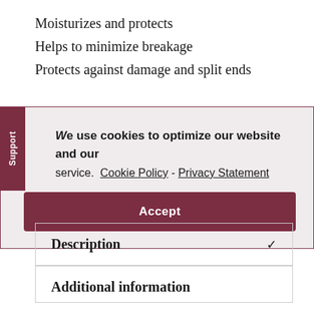Moisturizes and protects
Helps to minimize breakage
Protects against damage and split ends
We use cookies to optimize our website and our service.  Cookie Policy - Privacy Statement
Accept
Description
Additional information